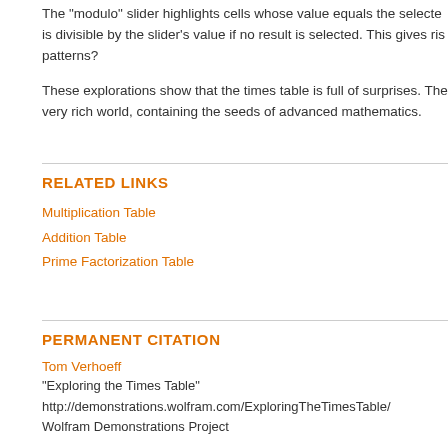The "modulo" slider highlights cells whose value equals the selected... is divisible by the slider's value if no result is selected. This gives ris... patterns?
These explorations show that the times table is full of surprises. The... very rich world, containing the seeds of advanced mathematics.
RELATED LINKS
Multiplication Table
Addition Table
Prime Factorization Table
PERMANENT CITATION
Tom Verhoeff
"Exploring the Times Table"
http://demonstrations.wolfram.com/ExploringTheTimesTable/
Wolfram Demonstrations Project